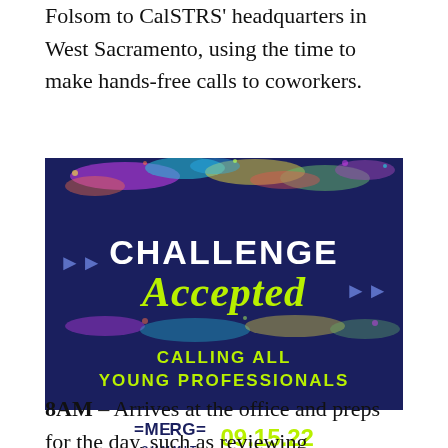Folsom to CalSTRS' headquarters in West Sacramento, using the time to make hands-free calls to coworkers.
[Figure (infographic): Advertisement for EMERGE Summit on 09.15.22. Dark navy background with colorful paint splatter at top and bottom. Text reads: CHALLENGE Accepted (in yellow-green script) with purple arrows on sides. Bottom text: CALLING ALL YOUNG PROFESSIONALS. Below the image: EMERGE SUMMIT logo with date 09.15.22 in yellow-green and URL emergeypsummit.com.]
8AM – Arrives at the office and preps for the day, such as reviewing